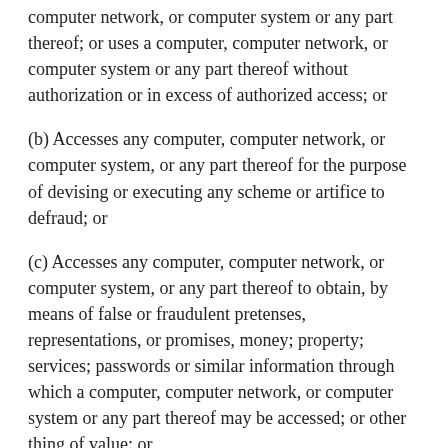computer network, or computer system or any part thereof; or uses a computer, computer network, or computer system or any part thereof without authorization or in excess of authorized access; or
(b) Accesses any computer, computer network, or computer system, or any part thereof for the purpose of devising or executing any scheme or artifice to defraud; or
(c) Accesses any computer, computer network, or computer system, or any part thereof to obtain, by means of false or fraudulent pretenses, representations, or promises, money; property; services; passwords or similar information through which a computer, computer network, or computer system or any part thereof may be accessed; or other thing of value; or
(d) Accesses any computer, computer network, or computer system, or any part thereof to commit theft; or